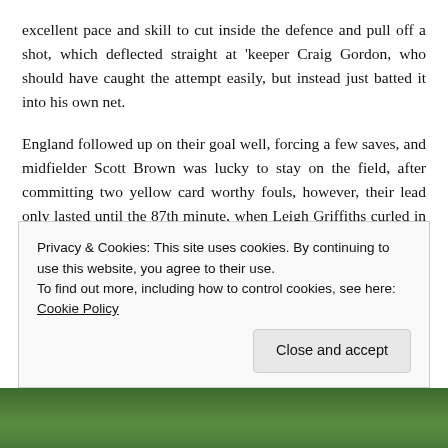excellent pace and skill to cut inside the defence and pull off a shot, which deflected straight at 'keeper Craig Gordon, who should have caught the attempt easily, but instead just batted it into his own net.

England followed up on their goal well, forcing a few saves, and midfielder Scott Brown was lucky to stay on the field, after committing two yellow card worthy fouls, however, their lead only lasted until the 87th minute, when Leigh Griffiths curled in a fantastic free-kick to level the scores. He then repeated the feat just three minutes later, swinging one into the bottom corner from the other
Privacy & Cookies: This site uses cookies. By continuing to use this website, you agree to their use.
To find out more, including how to control cookies, see here: Cookie Policy
[Figure (photo): Bottom strip showing a green football pitch/grass]